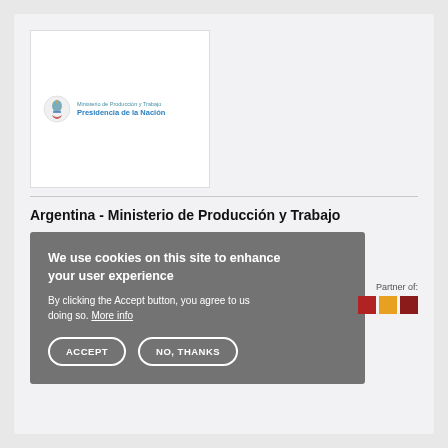[Figure (logo): Logo of Ministerio de Producción y Trabajo, Presidencia de la Nación, Argentina — coat of arms icon on left, two lines of blue text on right]
Argentina - Ministerio de Producción y Trabajo
We use cookies on this site to enhance your user experience
By clicking the Accept button, you agree to us doing so. More info

ACCEPT    NO, THANKS